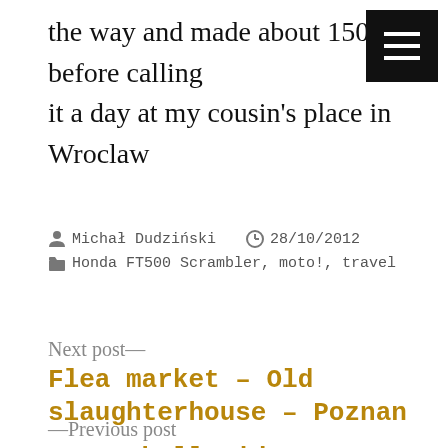the way and made about 150km before calling it a day at my cousin's place in Wroclaw
Michał Dudziński  28/10/2012  Honda FT500 Scrambler, moto!, travel
Next post—
Flea market – Old slaughterhouse – Poznan
—Previous post
Cannonball rider